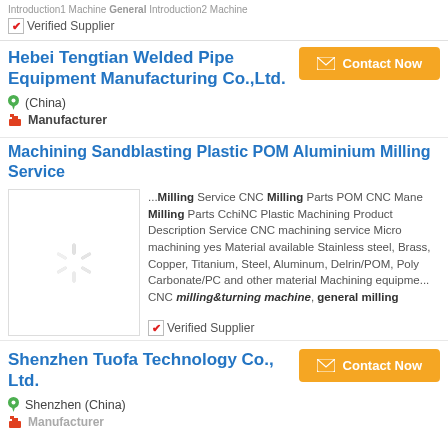Introduction1 Machine General Introduction2 Machine
✔ Verified Supplier
Hebei Tengtian Welded Pipe Equipment Manufacturing Co.,Ltd.
(China)
Manufacturer
Contact Now
Machining Sandblasting Plastic POM Aluminium Milling Service
[Figure (other): Loading spinner placeholder image for product]
...Milling Service CNC Milling Parts POM CNC Mane Milling Parts CchiNC Plastic Machining Product Description Service CNC machining service Micro machining yes Material available Stainless steel, Brass, Copper, Titanium, Steel, Aluminum, Delrin/POM, Poly Carbonate/PC and other material Machining equipme... CNC milling&turning machine, general milling
✔ Verified Supplier
Shenzhen Tuofa Technology Co., Ltd.
Shenzhen (China)
Manufacturer
Contact Now